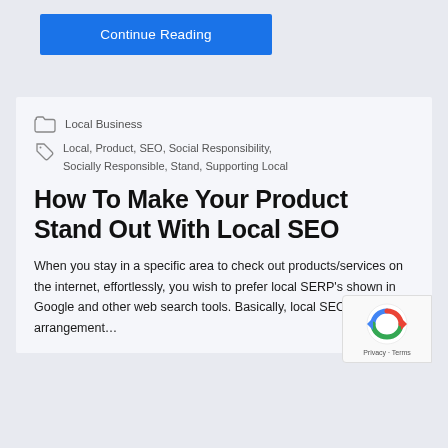Continue Reading
Local Business
Local, Product, SEO, Social Responsibility, Socially Responsible, Stand, Supporting Local
How To Make Your Product Stand Out With Local SEO
When you stay in a specific area to check out products/services on the internet, effortlessly, you wish to prefer local SERP's shown in Google and other web search tools. Basically, local SEO is an arrangement…